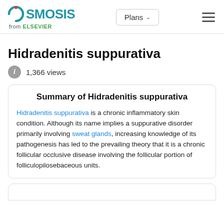Osmosis from ELSEVIER | Plans | Menu
Hidradenitis suppurativa
1,366 views
Summary of Hidradenitis suppurativa
Hidradenitis suppurativa is a chronic inflammatory skin condition. Although its name implies a suppurative disorder primarily involving sweat glands, increasing knowledge of its pathogenesis has led to the prevailing theory that it is a chronic follicular occlusive disease involving the follicular portion of folliculopilosebaceous units.